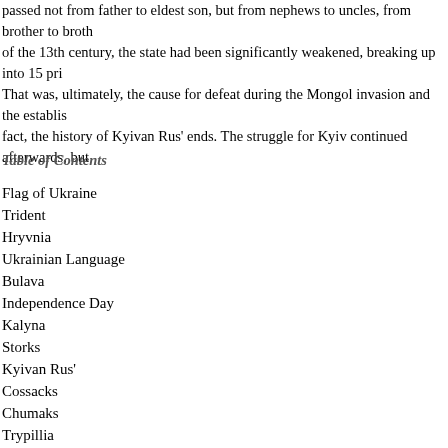passed not from father to eldest son, but from nephews to uncles, from brother to broth of the 13th century, the state had been significantly weakened, breaking up into 15 pri That was, ultimately, the cause for defeat during the Mongol invasion and the establis fact, the history of Kyivan Rus' ends. The struggle for Kyiv continued afterwards, but
Table of Contents
Flag of Ukraine
Trident
Hryvnia
Ukrainian Language
Bulava
Independence Day
Kalyna
Storks
Kyivan Rus'
Cossacks
Chumaks
Trypillia
Pectoral
Sugar Beets